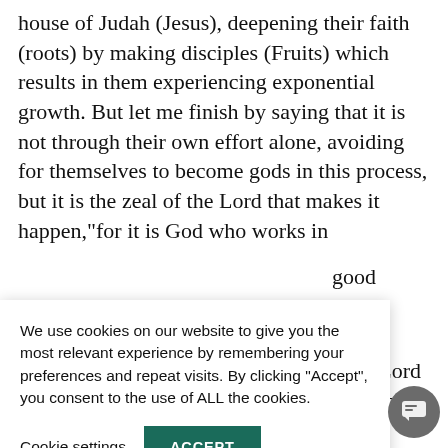house of Judah (Jesus), deepening their faith (roots) by making disciples (Fruits) which results in them experiencing exponential growth. But let me finish by saying that it is not through their own effort alone, avoiding for themselves to become gods in this process, but it is the zeal of the Lord that makes it happen,“for it is God who works in
[Figure (screenshot): Cookie consent overlay with text: We use cookies on our website to give you the most relevant experience by remembering your preferences and repeat visits. By clicking “Accept”, you consent to the use of ALL the cookies. Buttons: Cookie settings (underlined link) and ACCEPT (dark green button).]
good ... our Lord ... g disciples, ... , and ... erves which ... od, the